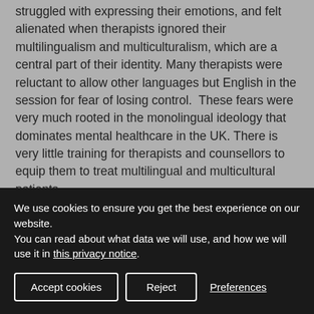struggled with expressing their emotions, and felt alienated when therapists ignored their multilingualism and multiculturalism, which are a central part of their identity. Many therapists were reluctant to allow other languages but English in the session for fear of losing control.  These fears were very much rooted in the monolingual ideology that dominates mental healthcare in the UK. There is very little training for therapists and counsellors to equip them to treat multilingual and multicultural patients.
In order to raise awareness about multilingualism, we have
We use cookies to ensure you get the best experience on our website.
You can read about what data we will use, and how we will use it in this privacy notice.
Accept cookies | Reject | Preferences